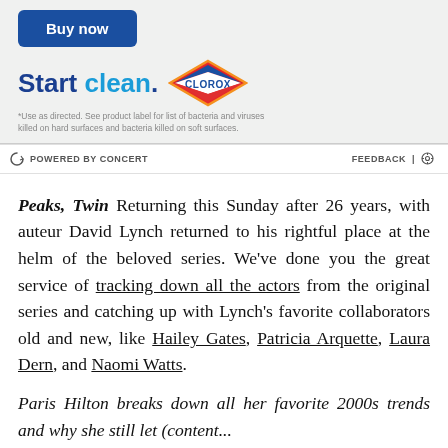[Figure (advertisement): Clorox advertisement with Buy now button, Start clean tagline with Clorox diamond logo, and disclaimer text about product use]
POWERED BY CONCERT   FEEDBACK | ⚙
Peaks, Twin Returning this Sunday after 26 years, with auteur David Lynch returned to his rightful place at the helm of the beloved series. We've done you the great service of tracking down all the actors from the original series and catching up with Lynch's favorite collaborators old and new, like Hailey Gates, Patricia Arquette, Laura Dern, and Naomi Watts.
Paris Hilton breaks down all her favorite 2000s trends and why she still loves [content cut off]